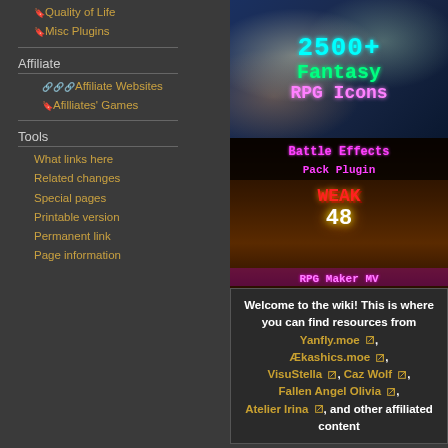🔖Quality of Life
🔖Misc Plugins
Affiliate
🔗🔗🔗Affiliate Websites
🔖Afilliates' Games
Tools
What links here
Related changes
Special pages
Printable version
Permanent link
Page information
[Figure (illustration): 2500+ Fantasy RPG Icons banner with colorful pixel-art text on bokeh background]
[Figure (illustration): Battle Effects Pack Plugin for RPG Maker MV showing WEAK 48 damage effect]
Welcome to the wiki! This is where you can find resources from Yanfly.moe, Ækashics.moe, VisuStella, Caz Wolf, Fallen Angel Olivia, Atelier Irina, and other affiliated content